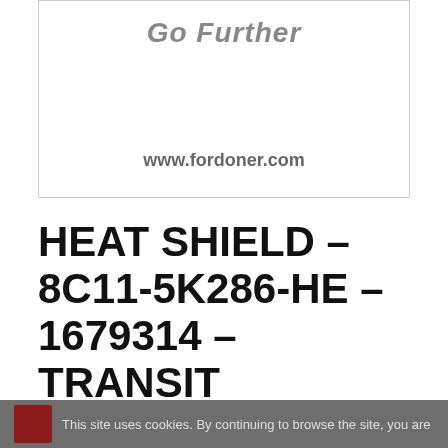[Figure (logo): Ford 'Go Further' logo box with website URL www.fordoner.com]
HEAT SHIELD – 8C11-5K286-HE – 1679314 – TRANSIT (2006)-8C115K286HE
This site uses cookies. By continuing to browse the site, you are